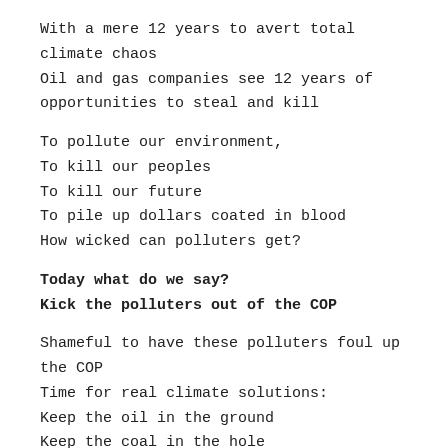With a mere 12 years to avert total climate chaos
Oil and gas companies see 12 years of opportunities to steal and kill
To pollute our environment,
To kill our peoples
To kill our future
To pile up dollars coated in blood
How wicked can polluters get?
Today what do we say?
Kick the polluters out of the COP
Shameful to have these polluters foul up the COP
Time for real climate solutions:
Keep the oil in the ground
Keep the coal in the hole
Keep it all in the ground